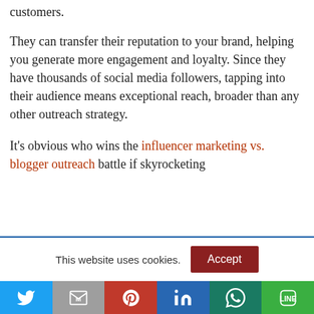customers.
They can transfer their reputation to your brand, helping you generate more engagement and loyalty. Since they have thousands of social media followers, tapping into their audience means exceptional reach, broader than any other outreach strategy.
It's obvious who wins the influencer marketing vs. blogger outreach battle if skyrocketing
This website uses cookies.
Accept